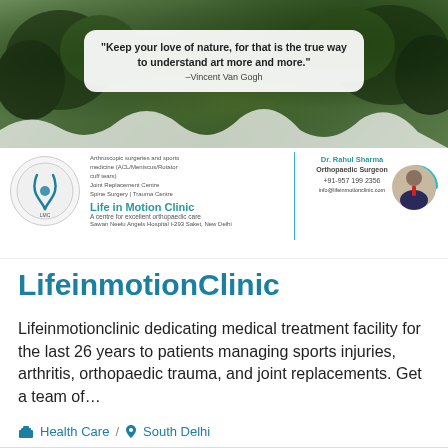[Figure (photo): Banner with forest/nature background and a quote box overlay containing a Vincent Van Gogh quote]
[Figure (infographic): Life in Motion Clinic card with logo, clinic details, Dr. Rahul Sharma Orthopaedic Surgeon info, and doctor photo]
LifeinmotionClinic
Lifeinmotionclinic dedicating medical treatment facility for the last 26 years to patients managing sports injuries, arthritis, orthopaedic trauma, and joint replacements. Get a team of…
🧳 Health Care / 📍 South Delhi